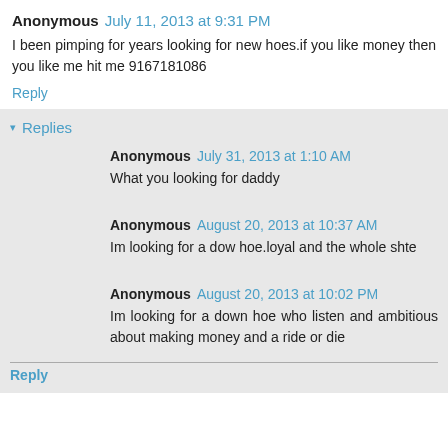Anonymous July 11, 2013 at 9:31 PM
I been pimping for years looking for new hoes.if you like money then you like me hit me 9167181086
Reply
Replies
Anonymous July 31, 2013 at 1:10 AM
What you looking for daddy
Anonymous August 20, 2013 at 10:37 AM
Im looking for a dow hoe.loyal and the whole shte
Anonymous August 20, 2013 at 10:02 PM
Im looking for a down hoe who listen and ambitious about making money and a ride or die
Reply